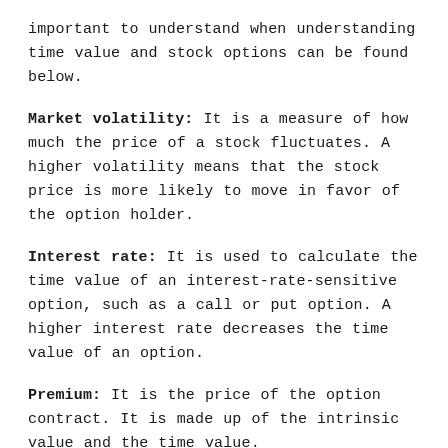important to understand when understanding time value and stock options can be found below.
Market volatility: It is a measure of how much the price of a stock fluctuates. A higher volatility means that the stock price is more likely to move in favor of the option holder.
Interest rate: It is used to calculate the time value of an interest-rate-sensitive option, such as a call or put option. A higher interest rate decreases the time value of an option.
Premium: It is the price of the option contract. It is made up of the intrinsic value and the time value.